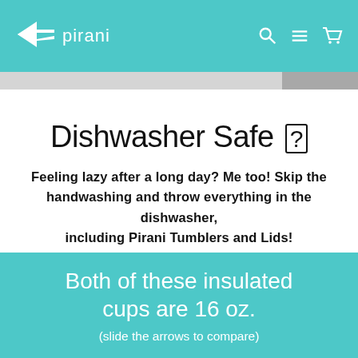pirani
[Figure (screenshot): Thin image strip with a partial photo thumbnail in the top-right corner]
Dishwasher Safe ?
Feeling lazy after a long day? Me too! Skip the handwashing and throw everything in the dishwasher, including Pirani Tumblers and Lids!
Both of these insulated cups are 16 oz.
(slide the arrows to compare)